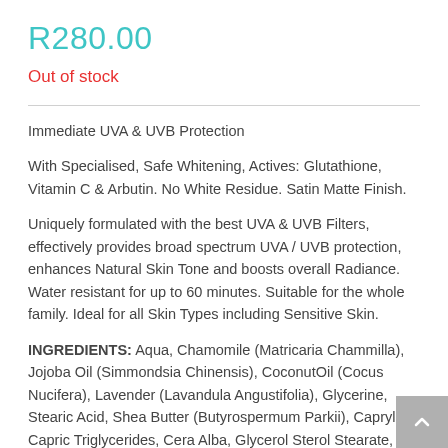R280.00
Out of stock
Immediate UVA & UVB Protection
With Specialised, Safe Whitening, Actives: Glutathione, Vitamin C & Arbutin. No White Residue. Satin Matte Finish.
Uniquely formulated with the best UVA & UVB Filters, effectively provides broad spectrum UVA / UVB protection, enhances Natural Skin Tone and boosts overall Radiance. Water resistant for up to 60 minutes. Suitable for the whole family. Ideal for all Skin Types including Sensitive Skin.
INGREDIENTS: Aqua, Chamomile (Matricaria Chammilla), Jojoba Oil (Simmondsia Chinensis), CoconutOil (Cocus Nucifera), Lavender (Lavandula Angustifolia), Glycerine, Stearic Acid, Shea Butter (Butyrospermum Parkii), Caprylic / Capric Triglycerides, Cera Alba, Glycerol Sterol Stearate,